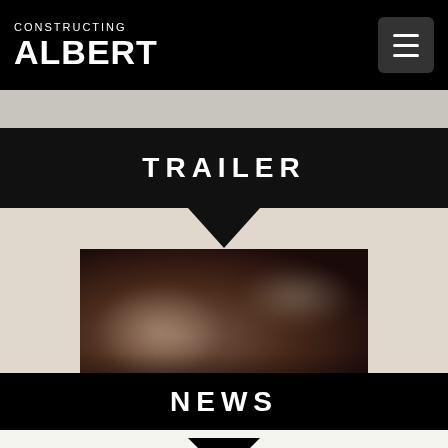CONSTRUCTING ALBERT
TRAILER
[Figure (screenshot): Blurred video thumbnail showing a dark scene with a person and text overlay, representing a documentary film trailer.]
NEWS